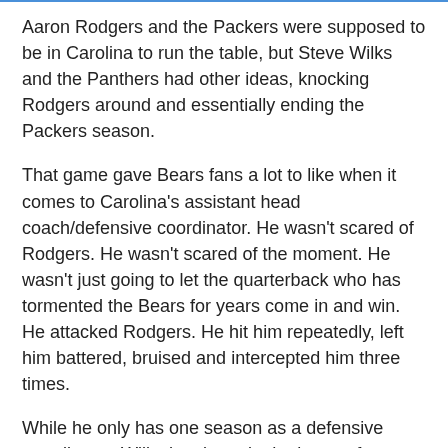Aaron Rodgers and the Packers were supposed to be in Carolina to run the table, but Steve Wilks and the Panthers had other ideas, knocking Rodgers around and essentially ending the Packers season.
That game gave Bears fans a lot to like when it comes to Carolina's assistant head coach/defensive coordinator. He wasn't scared of Rodgers. He wasn't scared of the moment. He wasn't just going to let the quarterback who has tormented the Bears for years come in and win. He attacked Rodgers. He hit him repeatedly, left him battered, bruised and intercepted him three times.
While he only has one season as a defensive coordinator, Wilks has been in the league for a long time and has been the assistant head coach (a move teams made to keep their coaches) for the last three seasons in which Carolina has gone 32-16.
As a coordinator, he brought Carolina's defense from